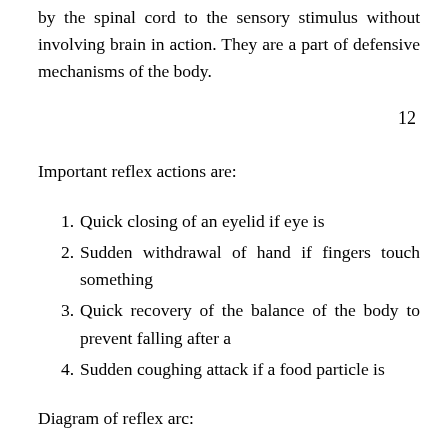by the spinal cord to the sensory stimulus without involving brain in action. They are a part of defensive mechanisms of the body.
12
Important reflex actions are:
Quick closing of an eyelid if eye is
Sudden withdrawal of hand if fingers touch something
Quick recovery of the balance of the body to prevent falling after a
Sudden coughing attack if a food particle is
Diagram of reflex arc: